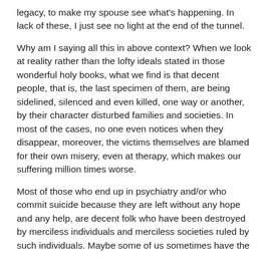legacy, to make my spouse see what's happening. In lack of these, I just see no light at the end of the tunnel.
Why am I saying all this in above context? When we look at reality rather than the lofty ideals stated in those wonderful holy books, what we find is that decent people, that is, the last specimen of them, are being sidelined, silenced and even killed, one way or another, by their character disturbed families and societies. In most of the cases, no one even notices when they disappear, moreover, the victims themselves are blamed for their own misery, even at therapy, which makes our suffering million times worse.
Most of those who end up in psychiatry and/or who commit suicide because they are left without any hope and any help, are decent folk who have been destroyed by merciless individuals and merciless societies ruled by such individuals. Maybe some of us sometimes have the